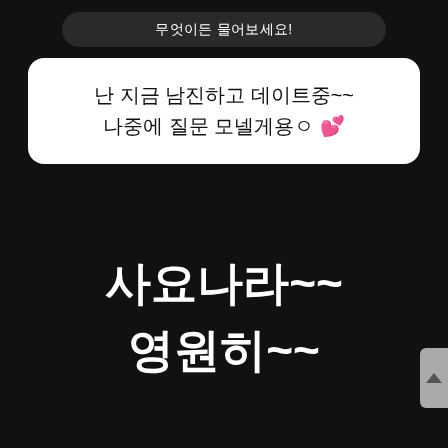무엇이든 물어보세요!
난 지금 남진하고 데이트중~~
나중에 질문 모넬게용ㅇ 💕
사요나라~~
영원히~~